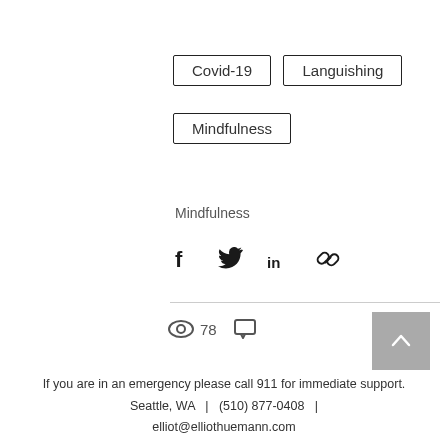Covid-19
Languishing
Mindfulness
Mindfulness
[Figure (infographic): Share icons: Facebook, Twitter, LinkedIn, link/chain icon]
[Figure (infographic): Stats bar: eye icon with count 78, comment bubble icon, heart/like icon (red outline)]
[Figure (infographic): Back to top button: grey square with upward chevron arrow]
If you are in an emergency please call 911 for immediate support.

Seattle, WA  |  (510) 877-0408  |  elliot@elliothuemann.com